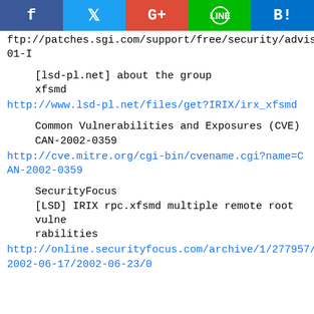[Figure (other): Social sharing bar with Facebook, Twitter, Google+, LINE, and Hatena Bookmark buttons]
ftp://patches.sgi.com/support/free/security/advisories/20020606-01-I
[lsd-pl.net] about the group
xfsmd
http://www.lsd-pl.net/files/get?IRIX/irx_xfsmd
Common Vulnerabilities and Exposures (CVE)
CAN-2002-0359
http://cve.mitre.org/cgi-bin/cvename.cgi?name=CAN-2002-0359
SecurityFocus
[LSD] IRIX rpc.xfsmd multiple remote root vulnerabilities
http://online.securityfocus.com/archive/1/277957/2002-06-17/2002-06-23/0